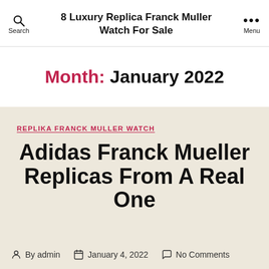8 Luxury Replica Franck Muller Watch For Sale
Month: January 2022
REPLIKA FRANCK MULLER WATCH
Adidas Franck Mueller Replicas From A Real One
By admin  January 4, 2022  No Comments